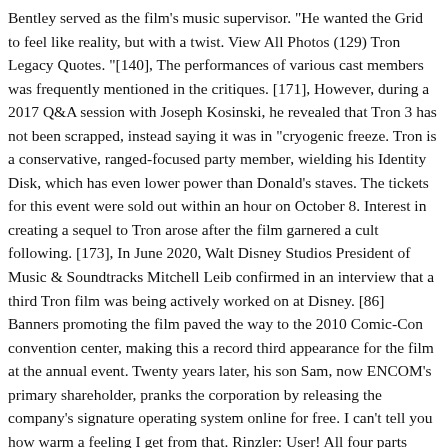Bentley served as the film's music supervisor. "He wanted the Grid to feel like reality, but with a twist. View All Photos (129) Tron Legacy Quotes. "[140], The performances of various cast members was frequently mentioned in the critiques. [171], However, during a 2017 Q&A session with Joseph Kosinski, he revealed that Tron 3 has not been scrapped, instead saying it was in "cryogenic freeze. Tron is a conservative, ranged-focused party member, wielding his Identity Disk, which has even lower power than Donald's staves. The tickets for this event were sold out within an hour on October 8. Interest in creating a sequel to Tron arose after the film garnered a cult following. [173], In June 2020, Walt Disney Studios President of Music & Soundtracks Mitchell Leib confirmed in an interview that a third Tron film was being actively worked on at Disney. [86] Banners promoting the film paved the way to the 2010 Comic-Con convention center, making this a record third appearance for the film at the annual event. Twenty years later, his son Sam, now ENCOM's primary shareholder, pranks the corporation by releasing the company's signature operating system online for free. I can't tell you how warm a feeling I get from that. Rinzler: User! All four parts